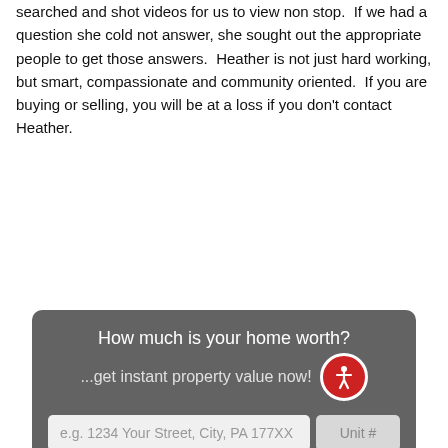searched and shot videos for us to view non stop. If we had a question she cold not answer, she sought out the appropriate people to get those answers. Heather is not just hard working, but smart, compassionate and community oriented. If you are buying or selling, you will be at a loss if you don't contact Heather.
[Figure (screenshot): Dark grey rounded-corner widget asking 'How much is your home worth?' with subtitle '...get instant property value now!' and an accessibility icon (person in circle, red background). Below is a form with an address field ('e.g. 1234 Your Street, City, PA 177XX') and a 'Unit #' field. A red 'Submit' button is at the bottom.]